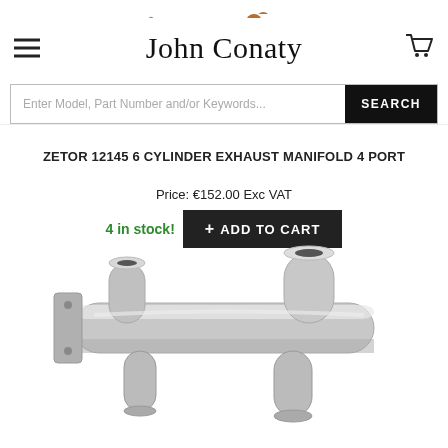[Figure (logo): John Conaty store header with hamburger menu, site title, and cart icon]
[Figure (photo): Brown decorative animal figurine (bird/duck shape) partially visible at top center]
Enter Model, Part Number and/or Keywords...
ZETOR 12145 6 CYLINDER EXHAUST MANIFOLD 4 PORT
Price: €152.00 Exc VAT
4 in stock!  + ADD TO CART
[Figure (photo): Silver/chrome exhaust manifold product photo showing a 4-port manifold with cylindrical outlet pipes]